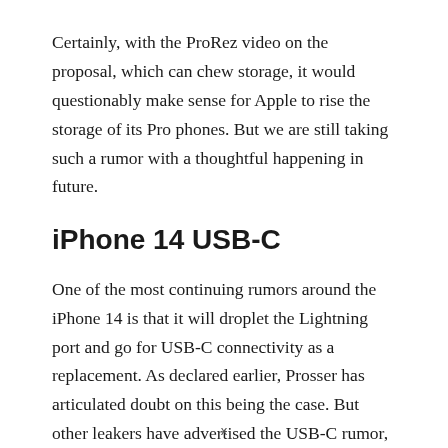Certainly, with the ProRez video on the proposal, which can chew storage, it would questionably make sense for Apple to rise the storage of its Pro phones. But we are still taking such a rumor with a thoughtful happening in future.
iPhone 14 USB-C
One of the most continuing rumors around the iPhone 14 is that it will droplet the Lightning port and go for USB-C connectivity as a replacement. As declared earlier, Prosser has articulated doubt on this being the case. But other leakers have advertised the USB-C rumor, noting that the iPhone 14 Pro will come with USB-C.
x